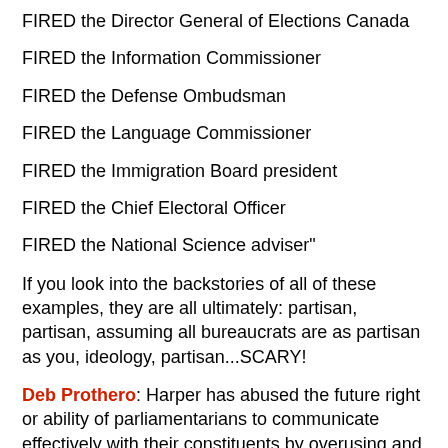FIRED the Director General of Elections Canada
FIRED the Information Commissioner
FIRED the Defense Ombudsman
FIRED the Language Commissioner
FIRED the Immigration Board president
FIRED the Chief Electoral Officer
FIRED the National Science adviser"
If you look into the backstories of all of these examples, they are all ultimately: partisan, partisan, assuming all bureaucrats are as partisan as you, ideology, partisan...SCARY!
Deb Prothero: Harper has abused the future right or ability of parliamentarians to communicate effectively with their constituents by overusing and abusing the 10% flyers with